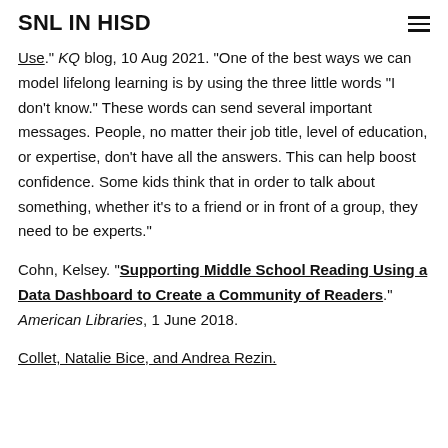SNL IN HISD
Use." KQ blog, 10 Aug 2021. "One of the best ways we can model lifelong learning is by using the three little words "I don't know." These words can send several important messages. People, no matter their job title, level of education, or expertise, don't have all the answers. This can help boost confidence. Some kids think that in order to talk about something, whether it's to a friend or in front of a group, they need to be experts."
Cohn, Kelsey. "Supporting Middle School Reading Using a Data Dashboard to Create a Community of Readers." American Libraries, 1 June 2018.
Collet, Natalie Bice, and Andrea Rezin. "Who changed...